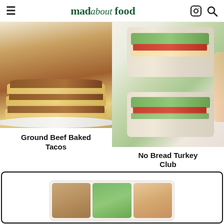mad about food
[Figure (photo): Stack of ground beef baked tacos with melted cheese on a white plate]
Ground Beef Baked Tacos
[Figure (photo): Hand holding two halves of a no bread turkey club wrap with lettuce, bacon, and tomato]
No Bread Turkey Club
[Figure (photo): Partial view of a boxed meal prep section showing three food containers]